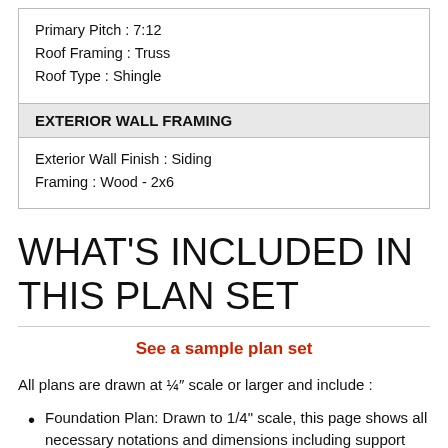| Primary Pitch : 7:12
Roof Framing : Truss
Roof Type : Shingle |
| EXTERIOR WALL FRAMING |
| Exterior Wall Finish : Siding
Framing : Wood - 2x6 |
WHAT'S INCLUDED IN THIS PLAN SET
See a sample plan set
All plans are drawn at ¼″ scale or larger and include :
Foundation Plan: Drawn to 1/4" scale, this page shows all necessary notations and dimensions including support columns, walls